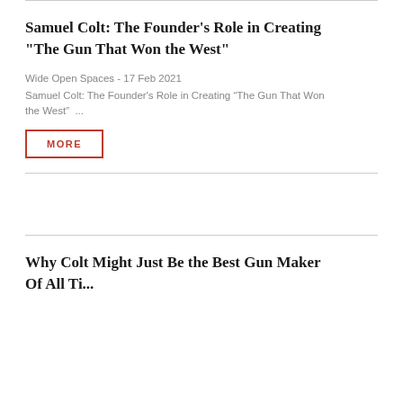Samuel Colt: The Founder's Role in Creating "The Gun That Won the West"
Wide Open Spaces - 17 Feb 2021
Samuel Colt: The Founder's Role in Creating “The Gun That Won the West”  ...
MORE
Why Colt Might Just Be the Best Gun Maker Of All Ti...